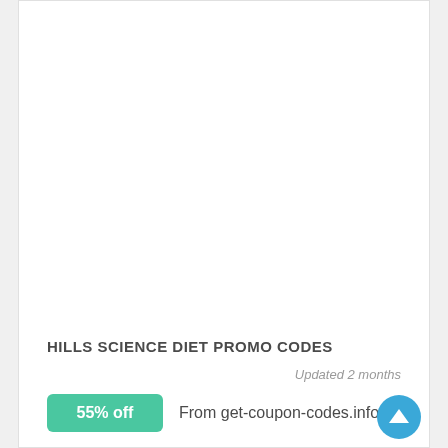[Figure (other): Large white blank/empty content area (advertisement or image placeholder)]
HILLS SCIENCE DIET PROMO CODES
Updated 2 months
55% off  From get-coupon-codes.info